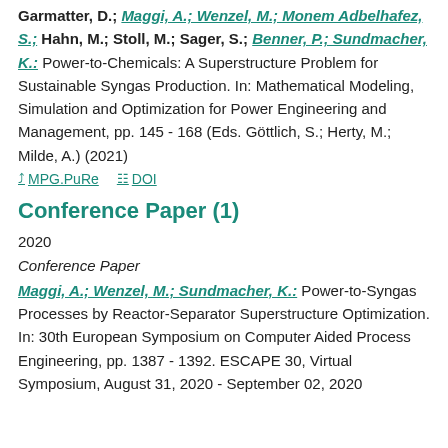Garmatter, D.; Maggi, A.; Wenzel, M.; Monem Adbelhafez, S.; Hahn, M.; Stoll, M.; Sager, S.; Benner, P.; Sundmacher, K.: Power-to-Chemicals: A Superstructure Problem for Sustainable Syngas Production. In: Mathematical Modeling, Simulation and Optimization for Power Engineering and Management, pp. 145 - 168 (Eds. Göttlich, S.; Herty, M.; Milde, A.) (2021)
MPG.PuRe   DOI
Conference Paper (1)
2020
Conference Paper
Maggi, A.; Wenzel, M.; Sundmacher, K.: Power-to-Syngas Processes by Reactor-Separator Superstructure Optimization. In: 30th European Symposium on Computer Aided Process Engineering, pp. 1387 - 1392. ESCAPE 30, Virtual Symposium, August 31, 2020 - September 02, 2020